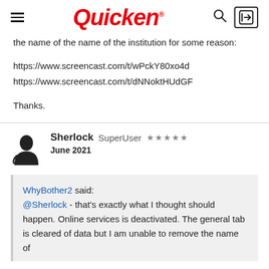Quicken
the name of the name of the institution for some reason:
https://www.screencast.com/t/wPckY80xo4d
https://www.screencast.com/t/dNNoktHUdGF
Thanks.
Sherlock  SuperUser  ★★★★★
June 2021
WhyBother2 said:
@Sherlock - that's exactly what I thought should happen. Online services is deactivated. The general tab is cleared of data but I am unable to remove the name of the name of the institution for some